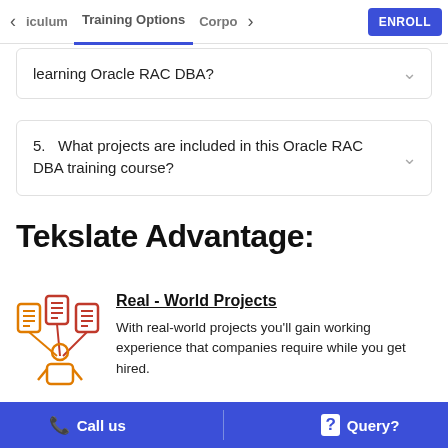< iculum   Training Options   Corpo >   ENROLL
learning Oracle RAC DBA?
5.   What projects are included in this Oracle RAC DBA training course?
Tekslate Advantage:
[Figure (illustration): Icon illustration showing documents and a person representing real-world projects, in orange and red colors]
Real - World Projects
With real-world projects you'll gain working experience that companies require while you get hired.
Call us   |   Query?